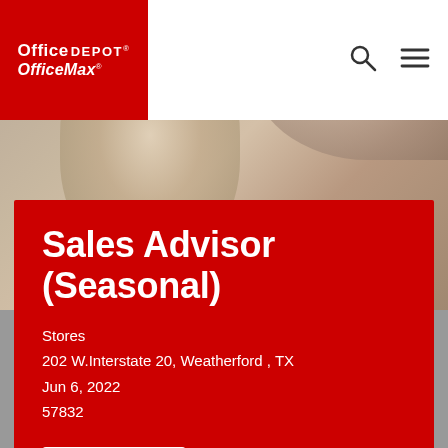Office DEPOT. OfficeMax
[Figure (photo): Background photo showing close-up of people, blurred, with warm tones. Serves as header background for the job listing page.]
Sales Advisor (Seasonal)
Stores
202 W.Interstate 20, Weatherford , TX
Jun 6, 2022
57832